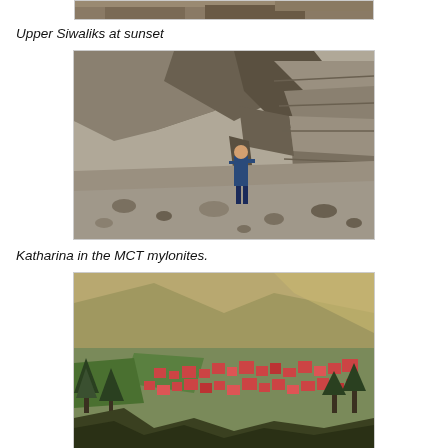[Figure (photo): Top-cropped photo of geological formation (Upper Siwaliks)]
Upper Siwaliks at sunset
[Figure (photo): Katharina standing in front of large exposed rock face showing MCT mylonites with layered strata, person for scale]
Katharina in the MCT mylonites.
[Figure (photo): Aerial/elevated view of a town in a mountain valley with forested hillsides and mountains in background]